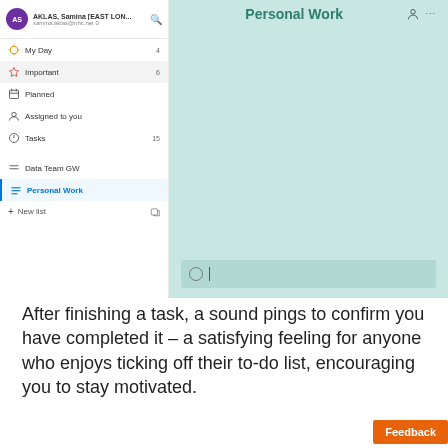[Figure (screenshot): Microsoft To Do app screenshot showing sidebar with navigation items (My Day: 4, Important: 6, Planned, Assigned to you, Tasks: 15, Data Team GW, Personal Work selected) and main content area titled 'Personal Work' with teal background and empty task input field]
After finishing a task, a sound pings to confirm you have completed it – a satisfying feeling for anyone who enjoys ticking off their to-do list, encouraging you to stay motivated.